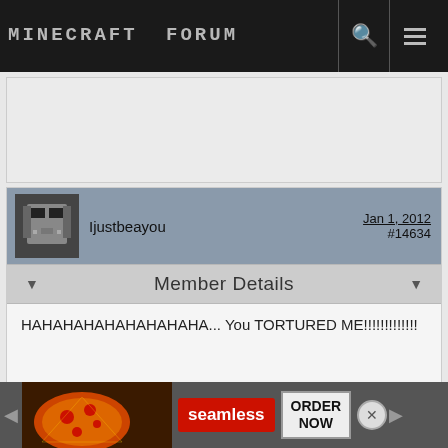MINECRAFT FORUM
[Figure (screenshot): Advertisement placeholder area (gray/white background)]
Ijustbeayou  Jan 1, 2012  #14634
Member Details
HAHAHAHAHAHAHAHAHA... You TORTURED ME!!!!!!!!!!!!!
Lord_Dust_Bunny555  Jan 1, 2012  #14636
[Figure (screenshot): Bottom advertisement banner: Seamless pizza ad with ORDER NOW button]